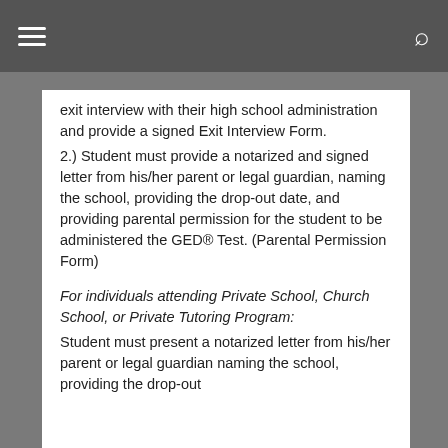Navigation bar with hamburger menu and search icon
exit interview with their high school administration and provide a signed Exit Interview Form.
2.) Student must provide a notarized and signed letter from his/her parent or legal guardian, naming the school, providing the drop-out date, and providing parental permission for the student to be administered the GED® Test. (Parental Permission Form)
For individuals attending Private School, Church School, or Private Tutoring Program:
Student must present a notarized letter from his/her parent or legal guardian naming the school, providing the drop-out